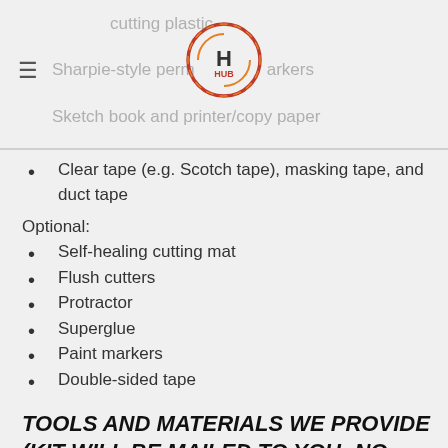cutting plastic | Sharpie-style permanent markers | Sketch book and printer/copy paper
Clear tape (e.g. Scotch tape), masking tape, and duct tape
Optional:
Self-healing cutting mat
Flush cutters
Protractor
Superglue
Paint markers
Double-sided tape
TOOLS AND MATERIALS WE PROVIDE (KIT WILL BE MAILED TO YOU; NO SUBSTITUTIONS POSSIBLE)
Hole punch/crop-a-dile punch
Pin drill & vise